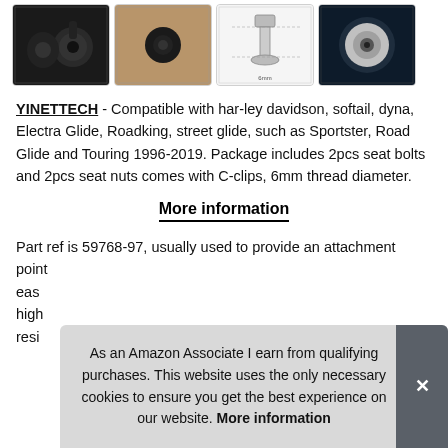[Figure (photo): Row of four product thumbnail images showing motorcycle seat bolt/nut hardware from different angles]
YINETTECH - Compatible with har-ley davidson, softail, dyna, Electra Glide, Roadking, street glide, such as Sportster, Road Glide and Touring 1996-2019. Package includes 2pcs seat bolts and 2pcs seat nuts comes with C-clips, 6mm thread diameter.
More information
Part ref is 59768-97, usually used to provide an attachment point ... easy ... high ... resi...
As an Amazon Associate I earn from qualifying purchases. This website uses the only necessary cookies to ensure you get the best experience on our website. More information